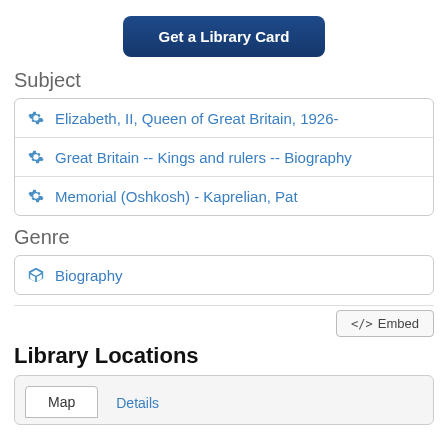[Figure (other): Blue rounded button labeled 'Get a Library Card']
Subject
Elizabeth, II, Queen of Great Britain, 1926-
Great Britain -- Kings and rulers -- Biography
Memorial (Oshkosh) - Kaprelian, Pat
Genre
Biography
</> Embed
Library Locations
Map   Details